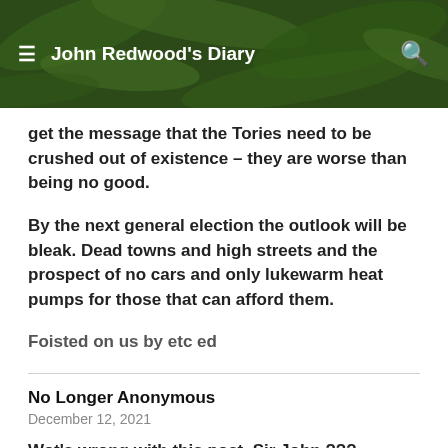John Redwood's Diary
get the message that the Tories need to be crushed out of existence – they are worse than being no good.
By the next general election the outlook will be bleak. Dead towns and high streets and the prospect of no cars and only lukewarm heat pumps for those that can afford them.
Foisted on us by etc ed
No Longer Anonymous
December 12, 2021
Wot's wrong with this post, Sir John ???